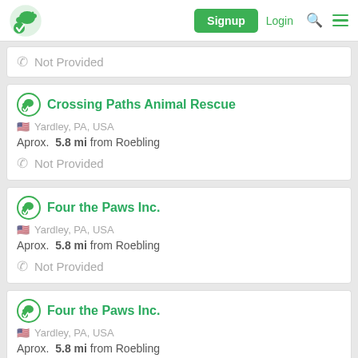Signup | Login
Not Provided
Crossing Paths Animal Rescue — Yardley, PA, USA — Aprox. 5.8 mi from Roebling — Not Provided
Four the Paws Inc. — Yardley, PA, USA — Aprox. 5.8 mi from Roebling — Not Provided
Four the Paws Inc. — Yardley, PA, USA — Aprox. 5.8 mi from Roebling